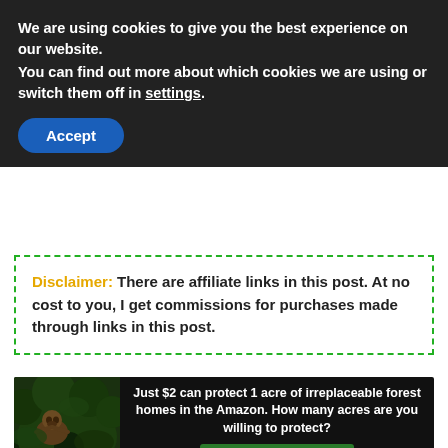We are using cookies to give you the best experience on our website.
You can find out more about which cookies we are using or switch them off in settings.
Accept
Disclaimer: There are affiliate links in this post. At no cost to you, I get commissions for purchases made through links in this post.
[Figure (photo): Amazon forest conservation ad banner: sloth with text 'Just $2 can protect 1 acre of irreplaceable forest homes in the Amazon. How many acres are you willing to protect?' and a green 'PROTECT FORESTS NOW' button.]